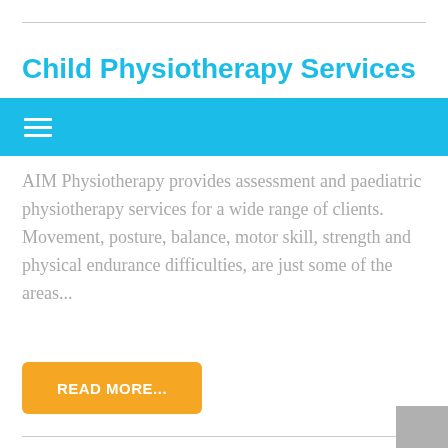Child Physiotherapy Services
[Figure (other): Navigation bar with hamburger menu icon on cyan/blue background]
AIM Physiotherapy provides assessment and paediatric physiotherapy services for a wide range of clients. Movement, posture, balance, motor skill, strength and physical endurance difficulties, are just some of the areas...
[Figure (other): Orange rounded button labeled READ MORE...]